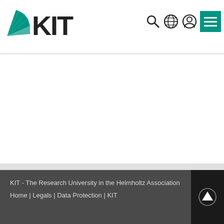[Figure (logo): KIT logo with green fan/rays and bold KIT text]
[Figure (screenshot): Navigation icons: search magnifier, globe, user/person circle, green hamburger menu button]
[Figure (logo): Powered by MediaWiki badge with small icon]
[Figure (logo): Powered by Semantic MediaWiki badge with orange/blue icon]
Diese Seite wurde zuletzt am 27. April 2018 um 15:31 Uhr bearbeitet.
KIT - The Research University in the Helmholtz Association
Home | Legals | Data Protection | KIT